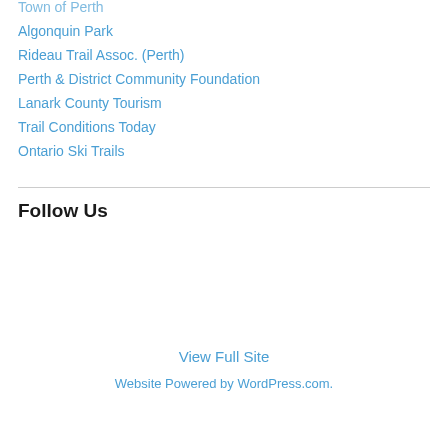Town of Perth
Algonquin Park
Rideau Trail Assoc. (Perth)
Perth & District Community Foundation
Lanark County Tourism
Trail Conditions Today
Ontario Ski Trails
Follow Us
View Full Site
Website Powered by WordPress.com.